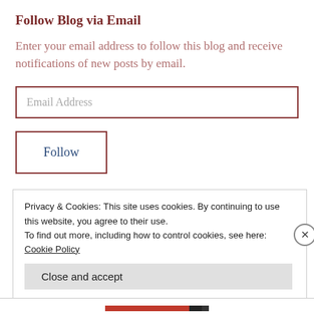Follow Blog via Email
Enter your email address to follow this blog and receive notifications of new posts by email.
Email Address
Follow
Join 279 other followers
Privacy & Cookies: This site uses cookies. By continuing to use this website, you agree to their use.
To find out more, including how to control cookies, see here: Cookie Policy
Close and accept